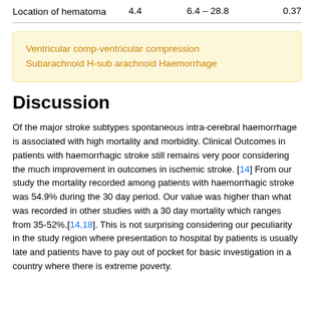|  |  |  |  |
| --- | --- | --- | --- |
| Location of hematoma | 4.4 | 6.4 – 28.8 | 0.37 |
Ventricular comp-ventricular compression
Subarachnoid H-sub arachnoid Haemorrhage
Discussion
Of the major stroke subtypes spontaneous intra-cerebral haemorrhage is associated with high mortality and morbidity. Clinical Outcomes in patients with haemorrhagic stroke still remains very poor considering the much improvement in outcomes in ischemic stroke. [14] From our study the mortality recorded among patients with haemorrhagic stroke was 54.9% during the 30 day period. Our value was higher than what was recorded in other studies with a 30 day mortality which ranges from 35-52%.[14,18]. This is not surprising considering our peculiarity in the study region where presentation to hospital by patients is usually late and patients have to pay out of pocket for basic investigation in a country where there is extreme poverty.